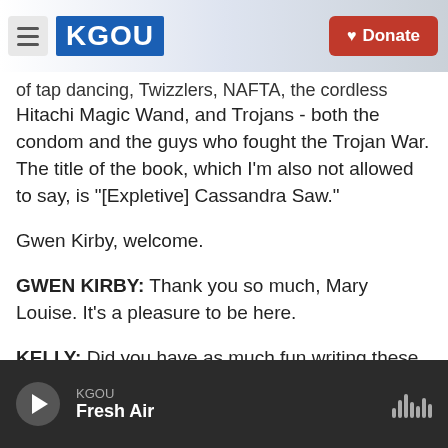KGOU | Donate
of tap dancing, Twizzlers, NAFTA, the cordless Hitachi Magic Wand, and Trojans - both the condom and the guys who fought the Trojan War. The title of the book, which I'm also not allowed to say, is "[Expletive] Cassandra Saw."
Gwen Kirby, welcome.
GWEN KIRBY: Thank you so much, Mary Louise. It's a pleasure to be here.
KELLY: Did you have as much fun writing these stories as I had reading them?
KGOU Fresh Air